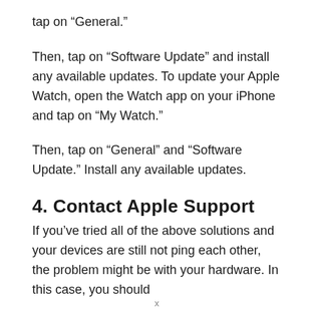tap on “General.”
Then, tap on “Software Update” and install any available updates. To update your Apple Watch, open the Watch app on your iPhone and tap on “My Watch.”
Then, tap on “General” and “Software Update.” Install any available updates.
4. Contact Apple Support
If you’ve tried all of the above solutions and your devices are still not ping each other, the problem might be with your hardware. In this case, you should